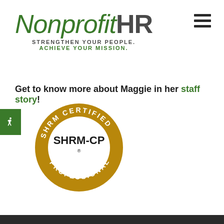[Figure (logo): Nonprofit HR logo with italic green 'Nonprofit' and bold dark 'HR', taglines 'STRENGTHEN YOUR PEOPLE.' and 'ACHIEVE YOUR MISSION.']
Get to know more about Maggie in her staff story!
[Figure (illustration): SHRM Certified Professional (SHRM-CP) gold circular badge with text 'SHRM CERTIFIED' on top arc and 'PROFESSIONAL' on bottom arc, 'SHRM-CP' in bold center]